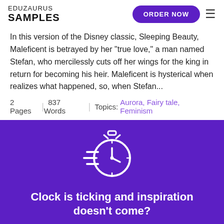EDUZAURUS SAMPLES
In this version of the Disney classic, Sleeping Beauty, Maleficent is betrayed by her "true love," a man named Stefan, who mercilessly cuts off her wings for the king in return for becoming his heir. Maleficent is hysterical when realizes what happened, so, when Stefan...
2 Pages | 837 Words | Topics: Aurora, Fairy tale, Feminism
[Figure (illustration): White outlined stopwatch/clock icon with speed lines on purple background]
Clock is ticking and inspiration doesn't come?
We`ll do boring work for you. No plagiarism guarantee. Deadline from 3 hours.